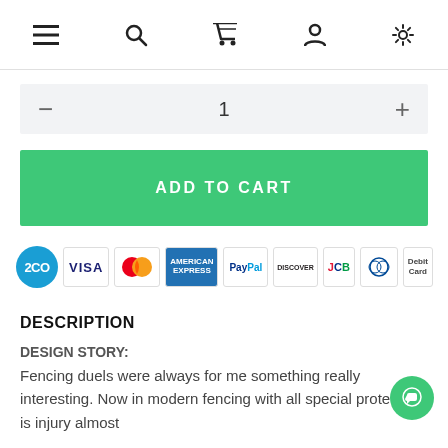Navigation bar with menu, search, cart, account, and settings icons
1 (quantity selector)
ADD TO CART
[Figure (other): Payment method logos: 2CO, VISA, Mastercard, American Express, PayPal, Discover, JCB, Diners Club, Debit Card]
DESCRIPTION
DESIGN STORY:
Fencing duels were always for me something really interesting. Now in modern fencing with all special protection is injury almost